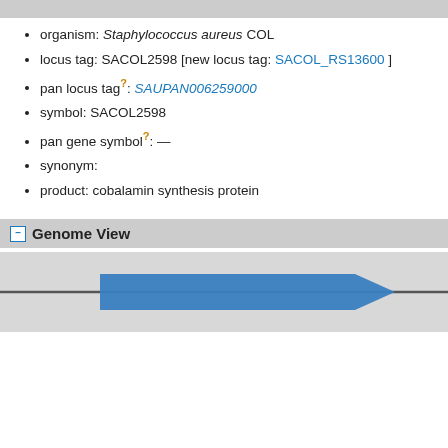organism: Staphylococcus aureus COL
locus tag: SACOL2598 [new locus tag: SACOL_RS13600 ]
pan locus tag?: SAUPAN006259000
symbol: SACOL2598
pan gene symbol?: —
synonym:
product: cobalamin synthesis protein
Genome View
[Figure (schematic): Genome view schematic showing two blue arrow-shaped gene features on a horizontal line representing genomic sequence, pointing right (forward strand).]